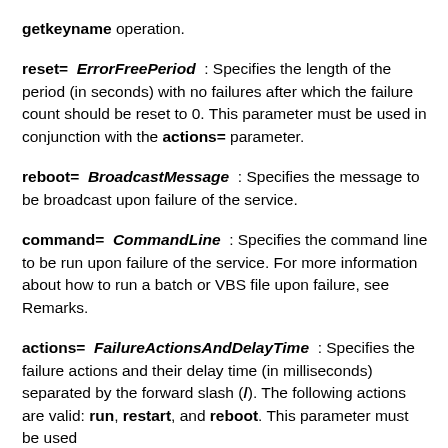getkeyname operation.
reset= ErrorFreePeriod : Specifies the length of the period (in seconds) with no failures after which the failure count should be reset to 0. This parameter must be used in conjunction with the actions= parameter.
reboot= BroadcastMessage : Specifies the message to be broadcast upon failure of the service.
command= CommandLine : Specifies the command line to be run upon failure of the service. For more information about how to run a batch or VBS file upon failure, see Remarks.
actions= FailureActionsAndDelayTime : Specifies the failure actions and their delay time (in milliseconds) separated by the forward slash (/). The following actions are valid: run, restart, and reboot. This parameter must be used